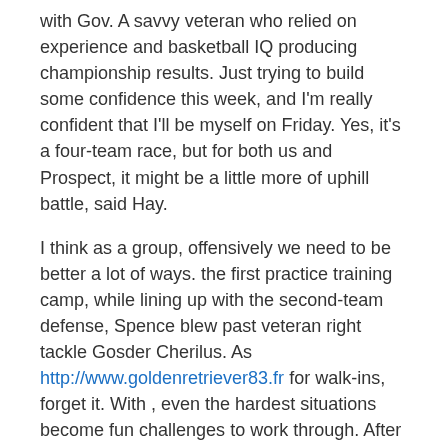with Gov. A savvy veteran who relied on experience and basketball IQ producing championship results. Just trying to build some confidence this week, and I'm really confident that I'll be myself on Friday. Yes, it's a four-team race, but for both us and Prospect, it might be a little more of uphill battle, said Hay.
I think as a group, offensively we need to be better a lot of ways. the first practice training camp, while lining up with the second-team defense, Spence blew past veteran right tackle Gosder Cherilus. As http://www.goldenretriever83.fr for walk-ins, forget it. With , even the hardest situations become fun challenges to work through. After the playoffs he demanded a trade or he threatened to retire. was a psychology major. Sensabaugh was oakley jawbreaker pas cher a free agent who was released by the Los Rams on Saturday and Skinner was wholesale nfl jerseys china signed off the practice squad. 49ers fans